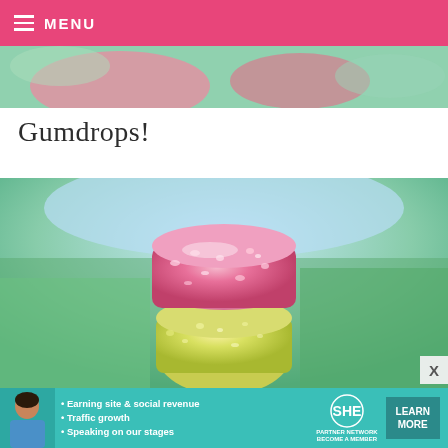MENU
[Figure (photo): Partial photo strip at top of page, blurred colorful candies visible]
Gumdrops!
[Figure (photo): Close-up photograph of two stacked sugar-coated gumdrops — a pink one on top of a yellow-green one — against a blurred colorful background]
[Figure (photo): Advertisement banner for SHE Partner Network with bullet points: Earning site & social revenue, Traffic growth, Speaking on our stages. Includes LEARN MORE button.]